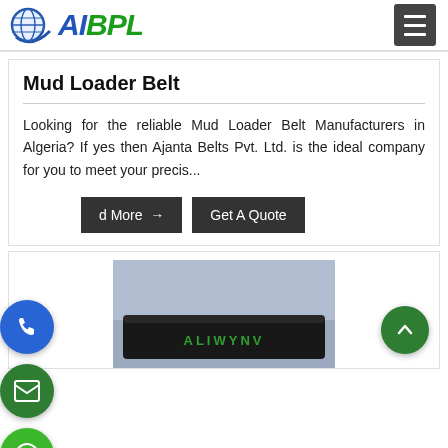AIBPL
Mud Loader Belt
Looking for the reliable Mud Loader Belt Manufacturers in Algeria? If yes then Ajanta Belts Pvt. Ltd. is the ideal company for you to meet your precis...
[Figure (screenshot): Read More button with arrow and Get A Quote button, dark background buttons]
[Figure (photo): Close-up photo of a black industrial belt with green ALIWYNV text branding, photographed on grey background]